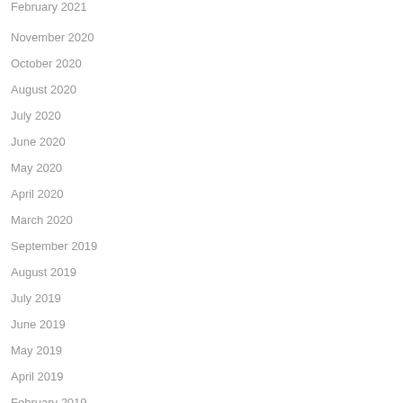February 2021
November 2020
October 2020
August 2020
July 2020
June 2020
May 2020
April 2020
March 2020
September 2019
August 2019
July 2019
June 2019
May 2019
April 2019
February 2019